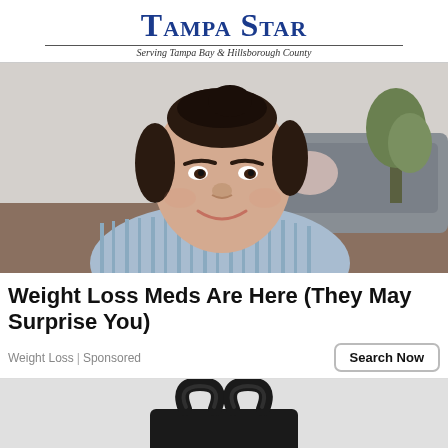Tampa Star — Serving Tampa Bay & Hillsborough County
[Figure (photo): A smiling plus-size woman with dark hair pulled up, wearing a light blue striped shirt, sitting indoors with a sofa and plant in background.]
Weight Loss Meds Are Here (They May Surprise You)
Weight Loss | Sponsored
[Figure (photo): Bottom portion of a black handbag with handles visible against a light gray background.]